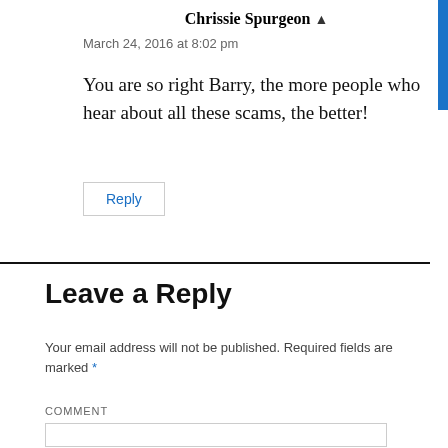Chrissie Spurgeon ▲
March 24, 2016 at 8:02 pm
You are so right Barry, the more people who hear about all these scams, the better!
Reply
Leave a Reply
Your email address will not be published. Required fields are marked *
COMMENT